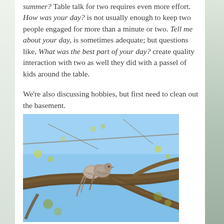summer? Table talk for two requires even more effort. How was your day? is not usually enough to keep two people engaged for more than a minute or two. Tell me about your day, is sometimes adequate; but questions like, What was the best part of your day? create quality interaction with two as well they did with a passel of kids around the table.
We're also discussing hobbies, but first need to clean out the basement.
[Figure (photo): Two birds (pigeons/doves) sitting close together on a tree branch against a blue sky with tree branches and yellow-green foliage visible]